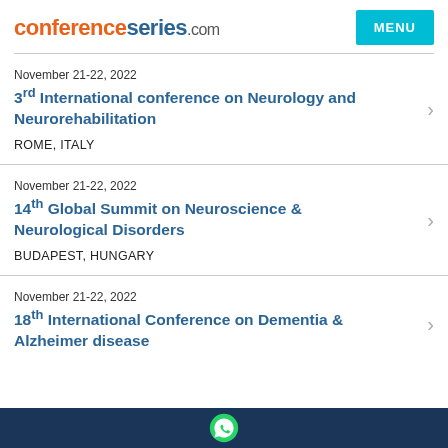conferenceseries.com
November 21-22, 2022
3rd International conference on Neurology and Neurorehabilitation
ROME, ITALY
November 21-22, 2022
14th Global Summit on Neuroscience & Neurological Disorders
BUDAPEST, HUNGARY
November 21-22, 2022
18th International Conference on Dementia & Alzheimer disease
[WhatsApp icon]